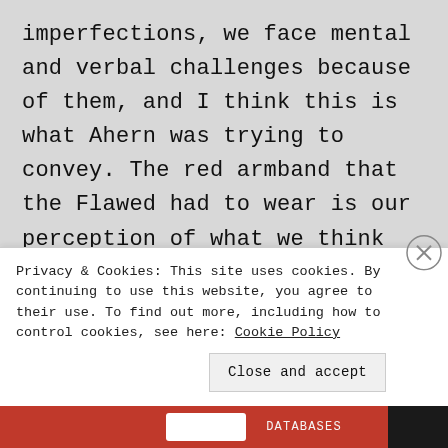imperfections, we face mental and verbal challenges because of them, and I think this is what Ahern was trying to convey. The red armband that the Flawed had to wear is our perception of what we think other people see our flaws as. When there is something wrong, we feel as if it is on
Privacy & Cookies: This site uses cookies. By continuing to use this website, you agree to their use. To find out more, including how to control cookies, see here: Cookie Policy
Close and accept